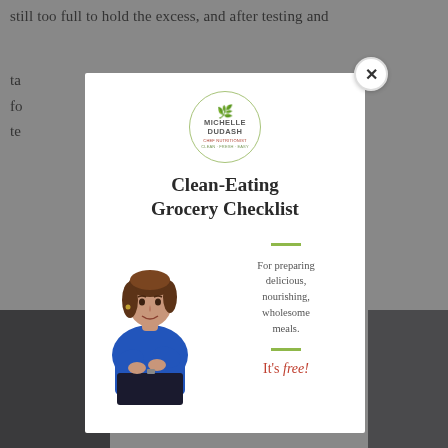still too full to hold the excess, and after testing and
ta
fo
te
[Figure (screenshot): Modal popup advertisement for Michelle Dudash Chef Nutritionist Clean-Eating Grocery Checklist. White modal on gray background with close X button. Contains logo, title 'Clean-Eating Grocery Checklist', photo of woman in blue shirt with arms crossed, green decorative bars, text 'For preparing delicious, nourishing, wholesome meals.' and red-orange italic text "It's free!"]
Clean-Eating Grocery Checklist
For preparing delicious, nourishing, wholesome meals.
It's free!